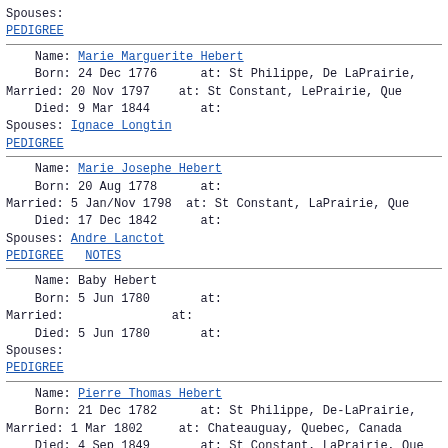Spouses:
PEDIGREE
Name: Marie Marguerite Hebert
Born: 24 Dec 1776      at: St Philippe, De LaPrairie,
Married: 20 Nov 1797    at: St Constant, LePrairie, Que
Died: 9 Mar 1844       at:
Spouses: Ignace Longtin
PEDIGREE
Name: Marie Josephe Hebert
Born: 20 Aug 1778      at:
Married: 5 Jan/Nov 1798  at: St Constant, LaPrairie, Que
Died: 17 Dec 1842      at:
Spouses: Andre Lanctot
PEDIGREE   NOTES
Name: Baby Hebert
Born: 5 Jun 1780       at:
Married:               at:
Died: 5 Jun 1780       at:
Spouses:
PEDIGREE
Name: Pierre Thomas Hebert
Born: 21 Dec 1782      at: St Philippe, De-LaPrairie,
Married: 1 Mar 1802     at: Chateauguay, Quebec, Canada
Died: 4 Sep 1849       at: St Constant, LaPrairie, Que
Spouses: Marie Josephete Doyon
PEDIGREE